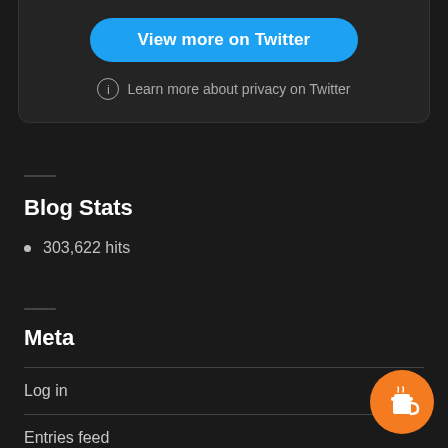[Figure (screenshot): Twitter embed card with 'View more on Twitter' button and privacy notice]
Blog Stats
303,622 hits
Meta
Log in
Entries feed
[Figure (illustration): Orange circular 'Buy Me a Coffee' button with coffee cup icon]